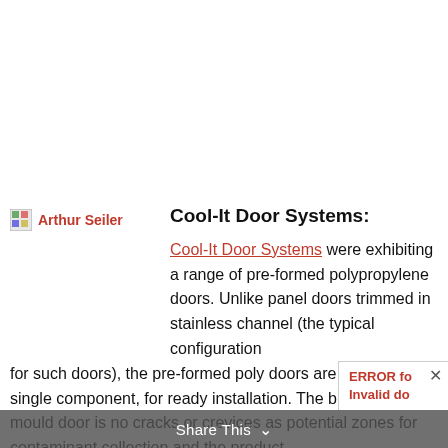[Figure (logo): Arthur Seiler logo with small image icon and text]
Cool-It Door Systems:
Cool-It Door Systems were exhibiting a range of pre-formed polypropylene doors. Unlike panel doors trimmed in stainless channel (the typical configuration for such doors), the pre-formed poly doors are supplied as a single component, for ready installation. The b of a single-mould door is no cracks or crevices as potential zones for contaminant collection and the product
Share This